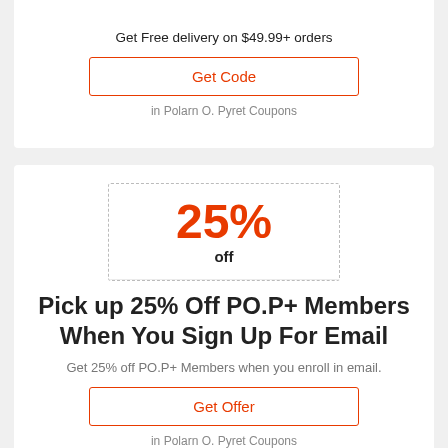Get Free delivery on $49.99+ orders
Get Code
in Polarn O. Pyret Coupons
25% off
Sale
Pick up 25% Off PO.P+ Members When You Sign Up For Email
Get 25% off PO.P+ Members when you enroll in email.
Get Offer
in Polarn O. Pyret Coupons